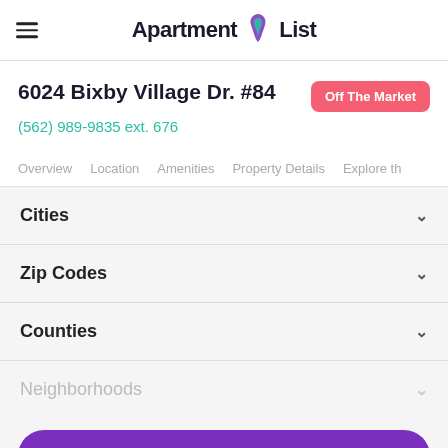Apartment List
6024 Bixby Village Dr. #84
Off The Market
(562) 989-9835 ext. 676
Overview  Location  Amenities  Property Details  Explore th
Cities
Zip Codes
Counties
Neighborhoods
Find Similar Rentals